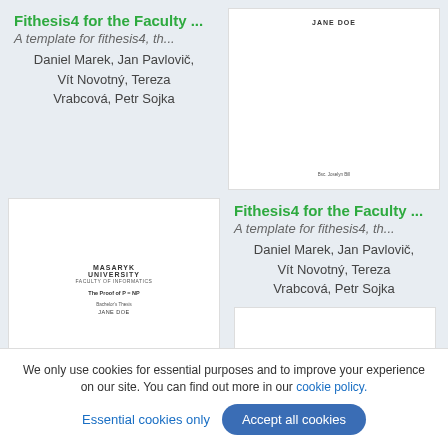Fithesis4 for the Faculty ...
A template for fithesis4, th...
Daniel Marek, Jan Pavlovič, Vít Novotný, Tereza Vrabcová, Petr Sojka
[Figure (illustration): Thumbnail of a document page showing 'JANE DOE' text centered on a white background]
[Figure (illustration): Thumbnail of a Masaryk University Faculty of Informatics thesis cover page titled 'The Proof of P = NP' by JANE DOE]
Fithesis4 for the Faculty ...
A template for fithesis4, th...
Daniel Marek, Jan Pavlovič, Vít Novotný, Tereza Vrabcová, Petr Sojka
[Figure (illustration): Partial white document thumbnail at bottom right]
We only use cookies for essential purposes and to improve your experience on our site. You can find out more in our cookie policy.
Essential cookies only
Accept all cookies